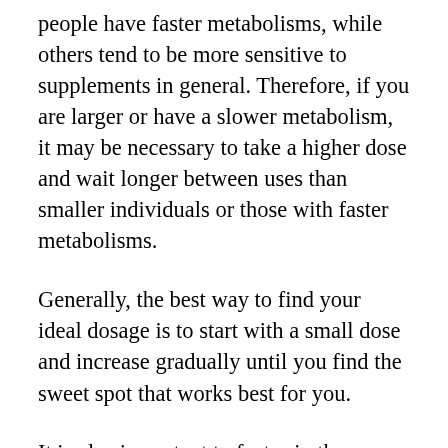people have faster metabolisms, while others tend to be more sensitive to supplements in general. Therefore, if you are larger or have a slower metabolism, it may be necessary to take a higher dose and wait longer between uses than smaller individuals or those with faster metabolisms.
Generally, the best way to find your ideal dosage is to start with a small dose and increase gradually until you find the sweet spot that works best for you.
It is also important to factor in the concentration of CBD in the product you are